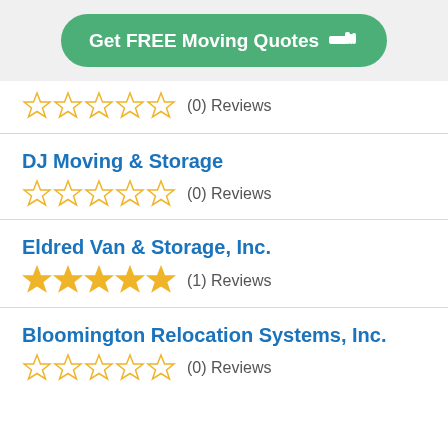[Figure (other): Green rounded button with white bold text 'Get FREE Moving Quotes' and a pointing hand icon]
(0) Reviews
DJ Moving & Storage
(0) Reviews
Eldred Van & Storage, Inc.
(1) Reviews
Bloomington Relocation Systems, Inc.
(0) Reviews